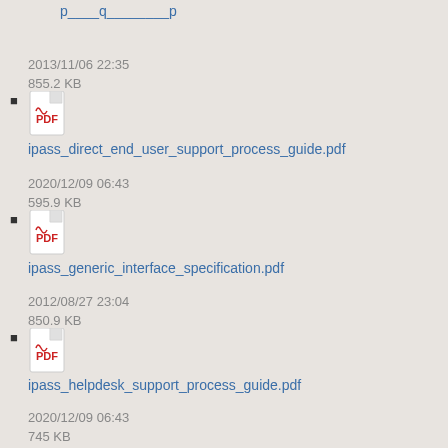2013/11/06 22:35
855.2 KB
ipass_direct_end_user_support_process_guide.pdf
2020/12/09 06:43
595.9 KB
ipass_generic_interface_specification.pdf
2012/08/27 23:04
850.9 KB
ipass_helpdesk_support_process_guide.pdf
2020/12/09 06:43
745 KB